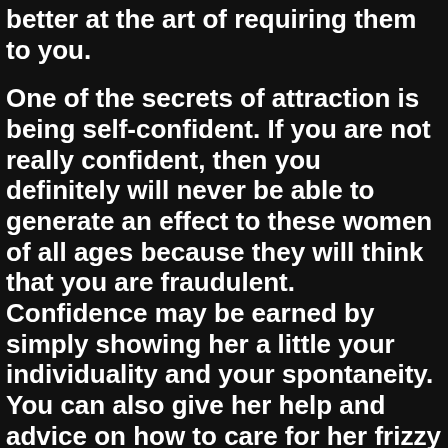better at the art of requiring them to you.
One of the secrets of attraction is being self-confident. If you are not really confident, then you definitely will never be able to generate an effect to these women of all ages because they will think that you are fraudulent. Confidence may be earned by simply showing her a little your individuality and your spontaneity. You can also give her help and advice on how to care for her frizzy hair or offer her some great perfume. Most of these things will help you in creating an image to be confident.
Aside from your overall look, your persona should also be in a good shape